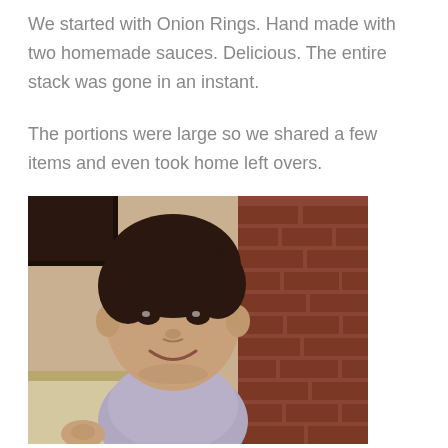We started with Onion Rings. Hand made with two homemade sauces. Delicious. The entire stack was gone in an instant.
The portions were large so we shared a few items and even took home left overs.
[Figure (photo): A young boy smiling at the camera in a restaurant setting, with a brick wall behind him and a dark booth seat. He is wearing a grey/purple shirt.]